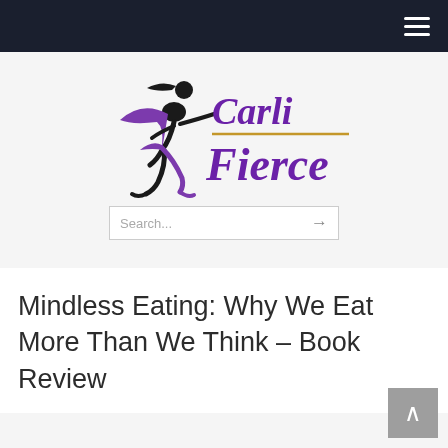[Figure (logo): Carli Fierce logo — silhouette of a running woman in purple/black with a purple cape, next to cursive purple text 'Carli Fierce' with a gold underline]
Mindless Eating: Why We Eat More Than We Think – Book Review